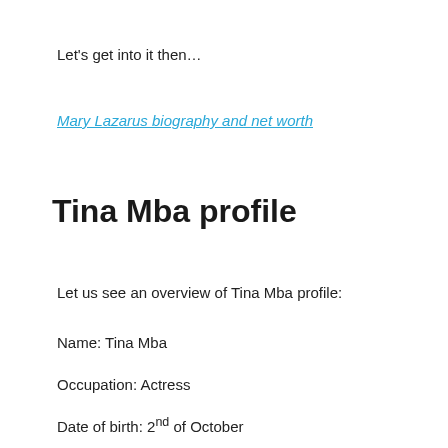Let's get into it then…
Mary Lazarus biography and net worth
Tina Mba profile
Let us see an overview of Tina Mba profile:
Name: Tina Mba
Occupation: Actress
Date of birth: 2nd of October
State of Origin: Enugu state
Place of birth: Delta state